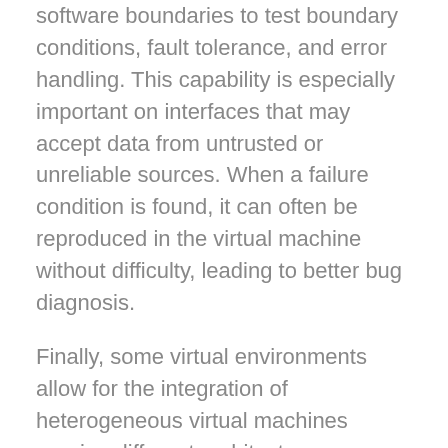software boundaries to test boundary conditions, fault tolerance, and error handling. This capability is especially important on interfaces that may accept data from untrusted or unreliable sources. When a failure condition is found, it can often be reproduced in the virtual machine without difficulty, leading to better bug diagnosis.
Finally, some virtual environments allow for the integration of heterogeneous virtual machines running different architectures, operating systems, and applications. By leveraging this capability, development teams can conduct “system-of-systems” simulations of a platform’s overall architecture. System-of-systems testing is critical for verifying defense-in-depth and identifying cascading failures. Instrumentation can even be placed at